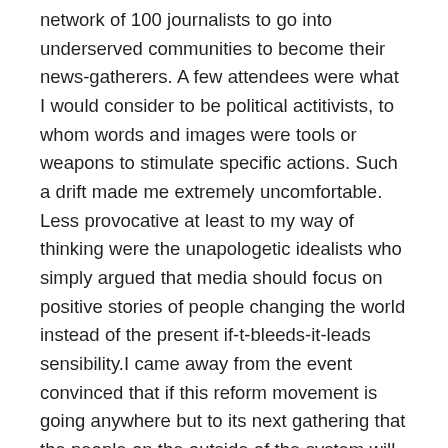network of 100 journalists to go into underserved communities to become their news-gatherers. A few attendees were what I would consider to be political actitivists, to whom words and images were tools or weapons to stimulate specific actions. Such a drift made me extremely uncomfortable. Less provocative at least to my way of thinking were the unapologetic idealists who simply argued that media should focus on positive stories of people changing the world instead of the present if-t-bleeds-it-leads sensibility.I came away from the event convinced that if this reform movement is going anywhere but to its next gathering that the people on the outside of the system will have to agree on something more than that they don't like what's going on inside the system. I say this of course as an ill-tempered reporter from a middling metropolitan daily who feels as if the only thing holding together the reform community is antipathy to mass media. There needs to be more common ground because I did